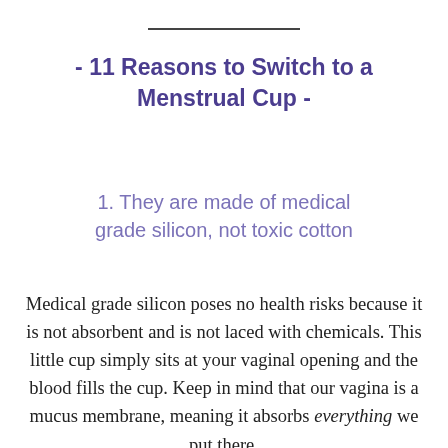- 11 Reasons to Switch to a Menstrual Cup -
1. They are made of medical grade silicon, not toxic cotton
Medical grade silicon poses no health risks because it is not absorbent and is not laced with chemicals. This little cup simply sits at your vaginal opening and the blood fills the cup. Keep in mind that our vagina is a mucus membrane, meaning it absorbs everything we put there.